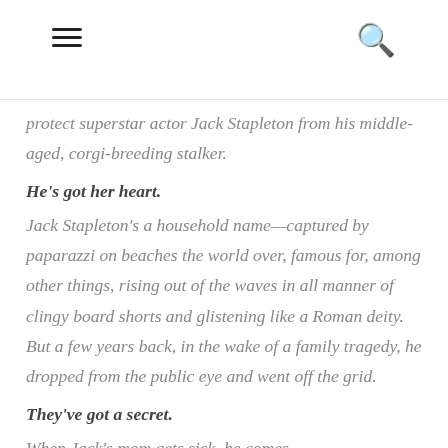[hamburger menu icon] [search icon]
protect superstar actor Jack Stapleton from his middle-aged, corgi-breeding stalker.
He's got her heart.
Jack Stapleton's a household name—captured by paparazzi on beaches the world over, famous for, among other things, rising out of the waves in all manner of clingy board shorts and glistening like a Roman deity. But a few years back, in the wake of a family tragedy, he dropped from the public eye and went off the grid.
They've got a secret.
When Jack's mom gets sick, he comes